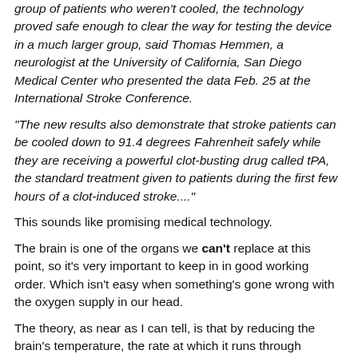group of patients who weren't cooled, the technology proved safe enough to clear the way for testing the device in a much larger group, said Thomas Hemmen, a neurologist at the University of California, San Diego Medical Center who presented the data Feb. 25 at the International Stroke Conference.
"The new results also demonstrate that stroke patients can be cooled down to 91.4 degrees Fahrenheit safely while they are receiving a powerful clot-busting drug called tPA, the standard treatment given to patients during the first few hours of a clot-induced stroke...."
This sounds like promising medical technology.
The brain is one of the organs we can't replace at this point, so it's very important to keep in in good working order. Which isn't easy when something's gone wrong with the oxygen supply in our head.
The theory, as near as I can tell, is that by reducing the brain's temperature, the rate at which it runs through